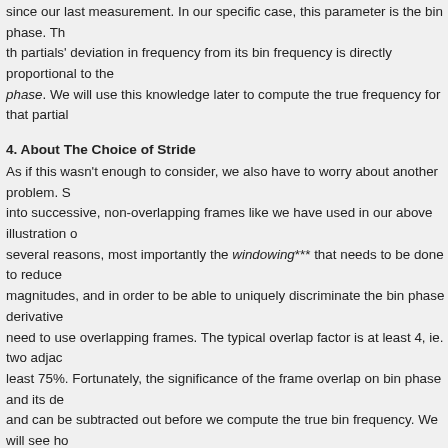since our last measurement. In our specific case, this parameter is the bin phase. Th th partials' deviation in frequency from its bin frequency is directly proportional to the phase. We will use this knowledge later to compute the true frequency for that partial
4. About The Choice of Stride
As if this wasn't enough to consider, we also have to worry about another problem. S into successive, non-overlapping frames like we have used in our above illustration o several reasons, most importantly the windowing*** that needs to be done to reduce magnitudes, and in order to be able to uniquely discriminate the bin phase derivative need to use overlapping frames. The typical overlap factor is at least 4, ie. two adjac least 75%. Fortunately, the significance of the frame overlap on bin phase and its de and can be subtracted out before we compute the true bin frequency. We will see ho source code example below. Actually, it is pretty unspectacular since we simply calcu derivative is expected to advance for a given overlap and then subtract this offset fro prior to computing the k-th partials' true frequency.
The other, more important thing we need to consider which is associated with this, ho of the overlap affects the way our true partial frequencies are discriminated. If we hav overlapping to a great extent, the range in which the true frequency of each of the si larger than if we choose a smaller overlap.
To see why this is the case, let us first consider how we actually measure the bin pha